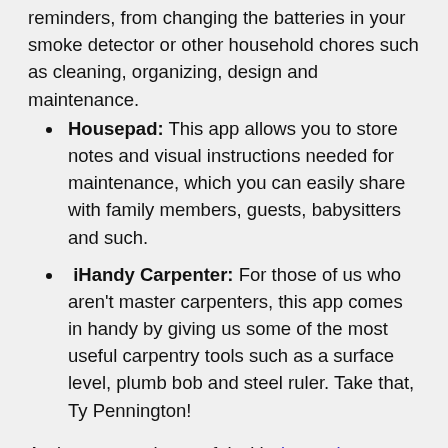reminders, from changing the batteries in your smoke detector or other household chores such as cleaning, organizing, design and maintenance.
Housepad: This app allows you to store notes and visual instructions needed for maintenance, which you can easily share with family members, guests, babysitters and such.
iHandy Carpenter: For those of us who aren't master carpenters, this app comes in handy by giving us some of the most useful carpentry tools such as a surface level, plumb bob and steel ruler. Take that, Ty Pennington!
And apps are also useful with decorating projects:
Mark on Call: Famed interior designer Mark Lewison helps us amateurs create floor plans on a grid to arrange furniture and décor to scale. Take photos of